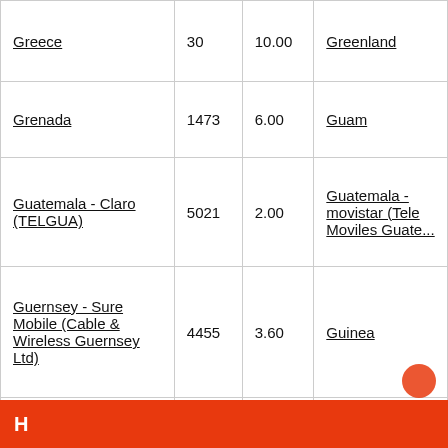|  |  |  |  |
| --- | --- | --- | --- |
| Greece | 30 | 10.00 | Greenland |
| Grenada | 1473 | 6.00 | Guam |
| Guatemala - Claro (TELGUA) | 5021 | 2.00 | Guatemala - movistar (Tele Moviles Guate... |
| Guernsey - Sure Mobile (Cable & Wireless Guernsey Ltd) | 4455 | 3.60 | Guinea |
| Guyana | 592 | 2.00 | Guyana - Cellin... (Guyana Telep... Telegraph Co.... |
H